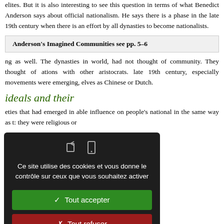elites. But it is also interesting to see this question in terms of what Benedict Anderson says about official nationalism. He says there is a phase in the late 19th century when there is an effort by all dynasties to become nationalists.
Anderson's Imagined Communities see pp. 5–6
ng as well. The dynasties in world, had not thought of community. They thought of ations with other aristocrats. late 19th century, especially movements were emerging, elves as Chinese or Dutch.
ideals and their
eties that had emerged in able influence on people's national in the same way as t: they were religious or
[Figure (screenshot): Cookie consent overlay popup with dark background. Contains French text 'Ce site utilise des cookies et vous donne le contrôle sur ceux que vous souhaitez activer', a green 'Tout accepter' button, a red 'Tout refuser' button, a white 'Personnaliser' button, and a 'Politique de confidentialité' link.]